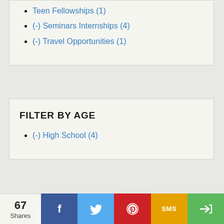Teen Fellowships (1)
(-) Seminars Internships (4)
(-) Travel Opportunities (1)
FILTER BY AGE
(-) High School (4)
67 Shares